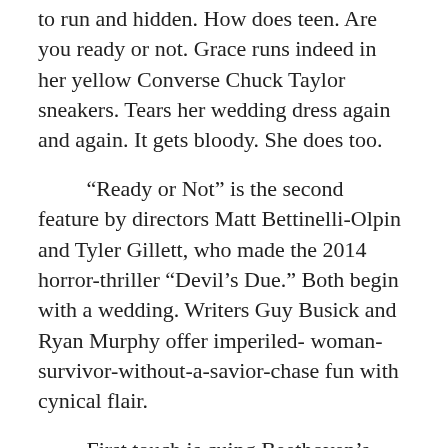to run and hidden. How does teen. Are you ready or not. Grace runs indeed in her yellow Converse Chuck Taylor sneakers. Tears her wedding dress again and again. It gets bloody. She does too.
“Ready or Not” is the second feature by directors Matt Bettinelli-Olpin and Tyler Gillett, who made the 2014 horror-thriller “Devil’s Due.” Both begin with a wedding. Writers Guy Busick and Ryan Murphy offer imperiled-woman-survivor-without-a-savior-chase fun with cynical flair.
First touch is cuing Beethoven’s Ninth as bridal fanfare. Then we glimpse the first of Aunt Helene’s malevolent glares at Grace. Seated in the front row for the vows, Helene wears a black suit accessorized with morbid purple. Observe her severely coiffed silver hair and chiseled sunken cheeked mien. This sight gag package